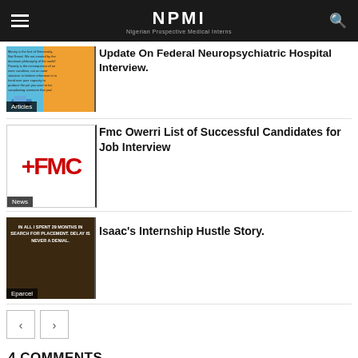NPMI – Nigerian Prospective Medical Interns
Update On Federal Neuropsychiatric Hospital Interview.
[Figure (screenshot): Colorful infographic thumbnail with blue and orange background, small car illustration and text about money. Badge label: Articles]
Fmc Owerri List of Successful Candidates for Job Interview
[Figure (logo): FMC logo in red with plus cross symbol. Badge label: News]
Isaac's Internship Hustle Story.
[Figure (photo): Dark brown rocky background with white bold text: IN ALL I SPENT 29 MONTHS IN SEARCH FOR PLACEMENT. DELAY IS NEVER A DENIAL. Badge label: Eparcel]
Pagination: previous, next
4 COMMENTS
Sunny